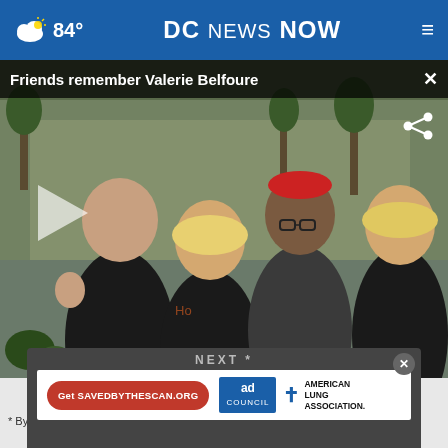84° DC NEWS NOW
[Figure (screenshot): Video thumbnail showing four women in black Orioles shirts posing together outdoors, with a play button overlay. Title bar reads 'Friends remember Valerie Belfoure'.]
NEXT *
[Figure (infographic): Ad banner: Get SAVEDBYTHESCAN.ORG | ad council | American Lung Association]
* By    cookies to track your survey answers. If you would like to